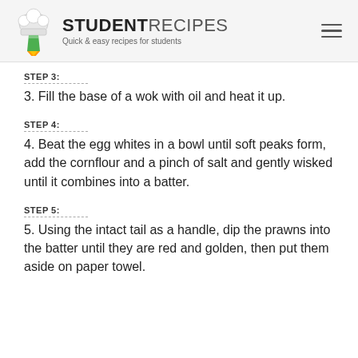STUDENTRECIPES — Quick & easy recipes for students
STEP 3:
3. Fill the base of a wok with oil and heat it up.
STEP 4:
4. Beat the egg whites in a bowl until soft peaks form, add the cornflour and a pinch of salt and gently wisked until it combines into a batter.
STEP 5:
5. Using the intact tail as a handle, dip the prawns into the batter until they are red and golden, then put them aside on paper towel.